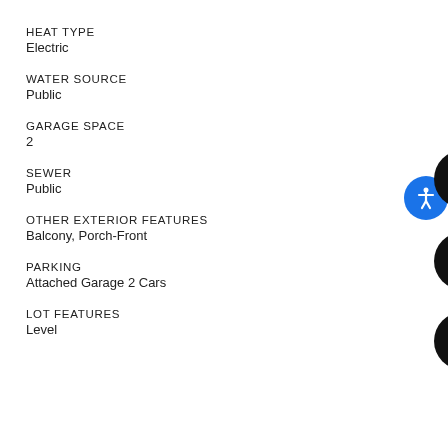HEAT TYPE
Electric
WATER SOURCE
Public
GARAGE SPACE
2
SEWER
Public
OTHER EXTERIOR FEATURES
Balcony, Porch-Front
PARKING
Attached Garage 2 Cars
LOT FEATURES
Level
[Figure (infographic): Blue accessibility icon button (top right), black circle mail icon button, black circle phone icon button, black circle search icon button (all on right side of page)]